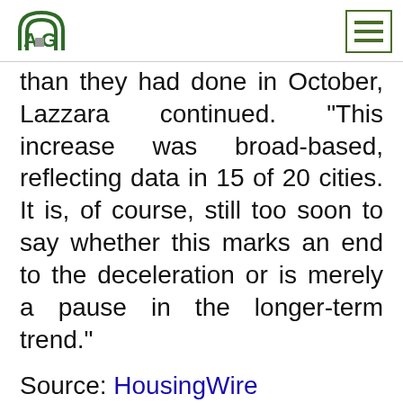AG logo and navigation menu
than they had done in October, Lazzara continued. “This increase was broad-based, reflecting data in 15 of 20 cities. It is, of course, still too soon to say whether this marks an end to the deceleration or is merely a pause in the longer-term trend.”
Source: HousingWire